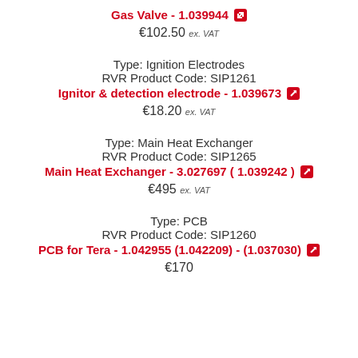Gas Valve - 1.039944 ↗
€102.50 ex. VAT
Type: Ignition Electrodes
RVR Product Code: SIP1261
Ignitor & detection electrode - 1.039673 ↗
€18.20 ex. VAT
Type: Main Heat Exchanger
RVR Product Code: SIP1265
Main Heat Exchanger - 3.027697 ( 1.039242 ) ↗
€495 ex. VAT
Type: PCB
RVR Product Code: SIP1260
PCB for Tera - 1.042955 (1.042209) - (1.037030) ↗
€170